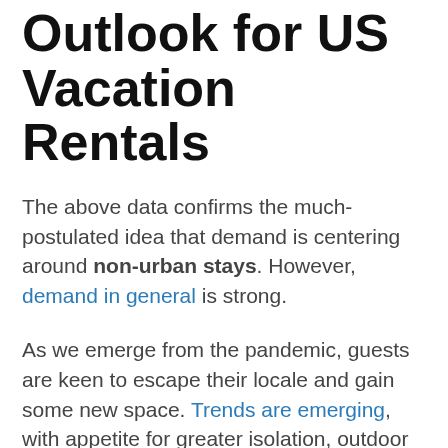Outlook for US Vacation Rentals
The above data confirms the much-postulated idea that demand is centering around non-urban stays. However, demand in general is strong.
As we emerge from the pandemic, guests are keen to escape their locale and gain some new space. Trends are emerging, with appetite for greater isolation, outdoor and more remote